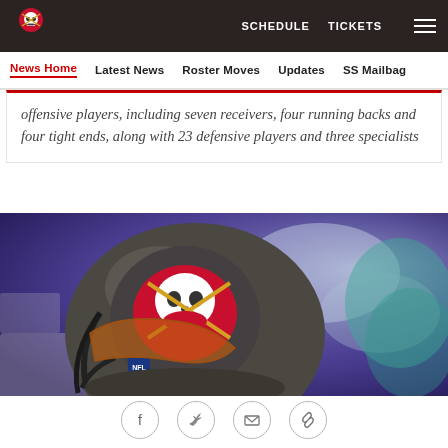SCHEDULE  TICKETS
News Home  Latest News  Roster Moves  Updates  SS Mailbag
offensive players, including seven receivers, four running backs and four tight ends, along with 23 defensive players and three specialists
[Figure (photo): Close-up of a Tampa Bay Buccaneers football helmet showing the Buccaneers logo (skull and crossed swords) on a dark metallic helmet, with a blurred purple/blue stadium background.]
Social share icons: Facebook, Twitter, Email, Link